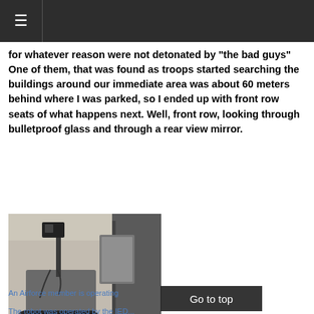☰
for whatever reason were not detonated by "the bad guys" One of them, that was found as troops started searching the buildings around our immediate area was about 60 meters behind where I was parked, so I ended up with front row seats of what happens next. Well, front row, looking through bulletproof glass and through a rear view mirror.
[Figure (photo): A military EOD (Explosive Ordnance Disposal) robot with tank treads, a camera mounted on an arm, viewed from the rear of a military vehicle through a side mirror. The robot is photographed outdoors on sandy/dusty ground.]
An Airforce member is operating
The robot was operated by the IED...